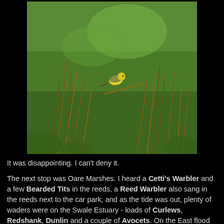[Figure (photo): A yellow wagtail bird perched on a thin bare twig, set against a blurred green grassy background with several more bare twigs in the foreground.]
It was disappointing. I can't deny it.
The next stop was Oare Marshes. I heard a Cetti's Warbler and a few Bearded Tits in the reeds, a Reed Warbler also sang in the reeds next to the car park, and as the tide was out, plenty of waders were on the Swale Estuary - loads of Curlews, Redshank, Dunlin and a couple of Avocets. On the East flood were about 200 Black-tailed Godwits that